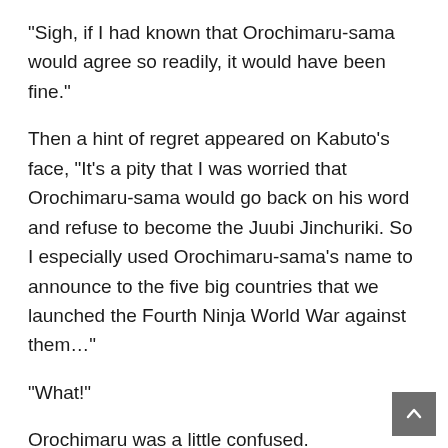“Sigh, if I had known that Orochimaru-sama would agree so readily, it would have been fine.”
Then a hint of regret appeared on Kabuto’s face, “It’s a pity that I was worried that Orochimaru-sama would go back on his word and refuse to become the Juubi Jinchuriki. So I especially used Orochimaru-sama’s name to announce to the five big countries that we launched the Fourth Ninja World War against them…”
“What!”
Orochimaru was a little confused.
What the hell was going on right now?
What the hell did this bastard Kabuto hide from him!